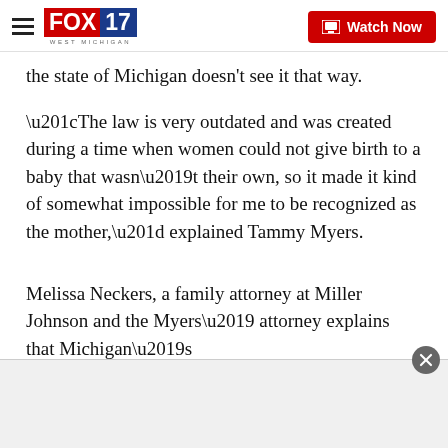FOX 17 WEST MICHIGAN | Watch Now
the state of Michigan doesn't see it that way.
“The law is very outdated and was created during a time when women could not give birth to a baby that wasn’t their own, so it made it kind of somewhat impossible for me to be recognized as the mother,” explained Tammy Myers.
Melissa Neckers, a family attorney at Miller Johnson and the Myers’ attorney explains that Michigan’s Surrogacy Protection Act...